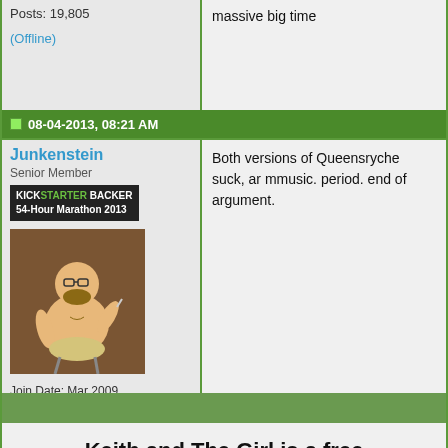Posts: 19,805
(Offline)
massive big time
08-04-2013, 08:21 AM
Junkenstein
Senior Member
[Figure (illustration): Cartoon avatar of a chubby man with glasses sitting on a stool, shirtless, wearing underwear, on a brown background]
Join Date: Mar 2009
Location: Northern Italy (No Guidos Here)
Posts: 6,781
(Offline)
Both versions of Queensryche suck, and mmusic. period. end of argument.
Keith and The Girl is a free